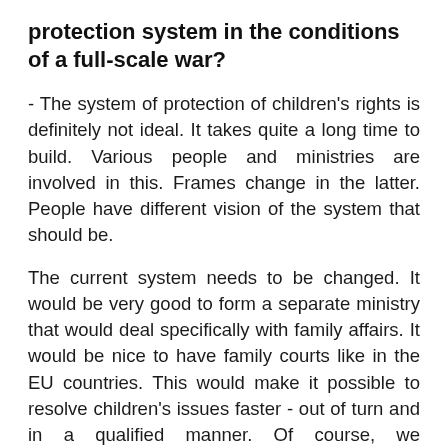protection system in the conditions of a full-scale war?
- The system of protection of children's rights is definitely not ideal. It takes quite a long time to build. Various people and ministries are involved in this. Frames change in the latter. People have different vision of the system that should be.
The current system needs to be changed. It would be very good to form a separate ministry that would deal specifically with family affairs. It would be nice to have family courts like in the EU countries. This would make it possible to resolve children's issues faster - out of turn and in a qualified manner. Of course, we understand that there is a need for reform in the services